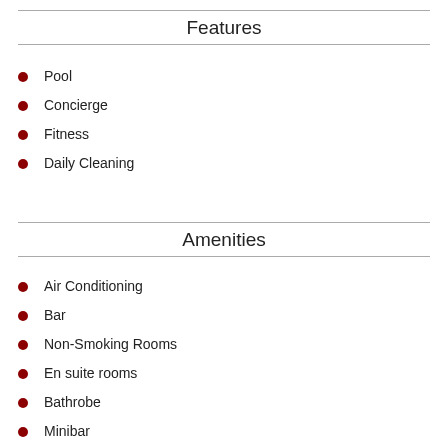Features
Pool
Concierge
Fitness
Daily Cleaning
Amenities
Air Conditioning
Bar
Non-Smoking Rooms
En suite rooms
Bathrobe
Minibar